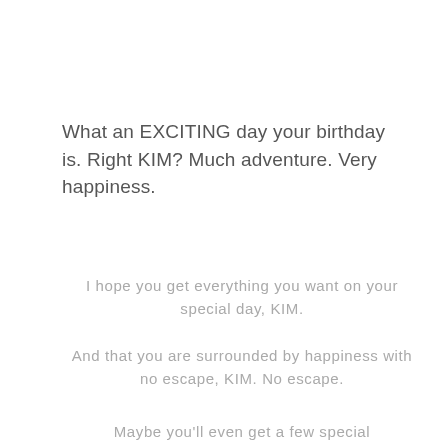What an EXCITING day your birthday is. Right KIM? Much adventure. Very happiness.
I hope you get everything you want on your special day, KIM.
And that you are surrounded by happiness with no escape, KIM. No escape.
Maybe you'll even get a few special